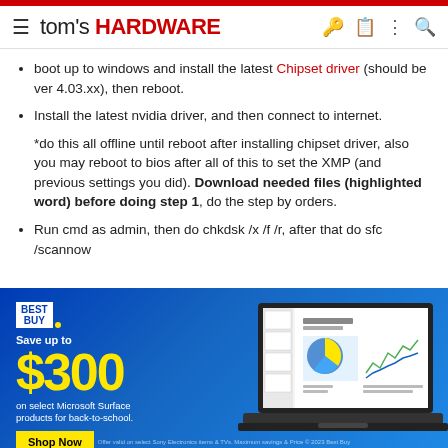tom's HARDWARE
boot up to windows and install the latest Chipset driver (should be ver 4.03.xx), then reboot.
Install the latest nvidia driver, and then connect to internet.
*do this all offline until reboot after installing chipset driver, also you may reboot to bios after all of this to set the XMP (and previous settings you did). Download needed files (highlighted word) before doing step 1, do the step by orders.
Run cmd as admin, then do chkdsk /x /f /r, after that do sfc /scannow
[Figure (infographic): Best Buy advertisement banner. Save up to $300 on select Microsoft Surface products for back-to-school. Shop Now button. Laptop image on right showing presentation software.]